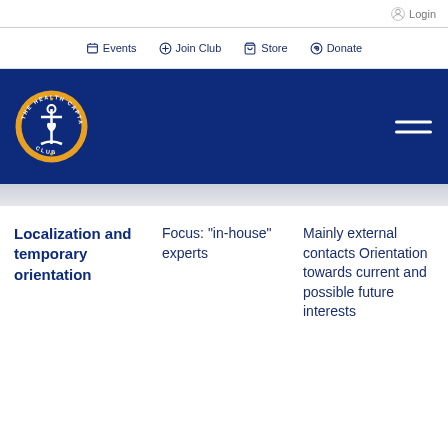Login
Events  Join Club  Store  Donate
[Figure (logo): The Health Captains Club circular logo on dark navy blue header bar with hamburger menu icon]
Localization and temporary orientation
Focus: “in-house” experts
Mainly external contacts Orientation towards current and possible future interests